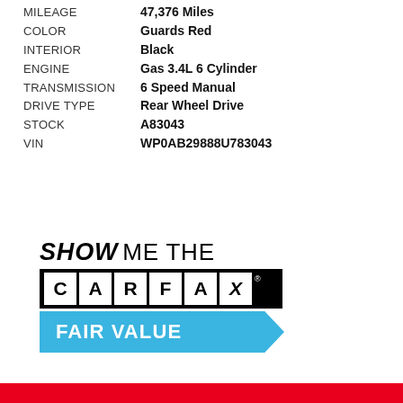| Attribute | Value |
| --- | --- |
| MILEAGE | 47,376 Miles |
| COLOR | Guards Red |
| INTERIOR | Black |
| ENGINE | Gas 3.4L 6 Cylinder |
| TRANSMISSION | 6 Speed Manual |
| DRIVE TYPE | Rear Wheel Drive |
| STOCK | A83043 |
| VIN | WP0AB29888U783043 |
[Figure (logo): Show Me The CARFAX logo with FAIR VALUE badge in blue arrow shape]